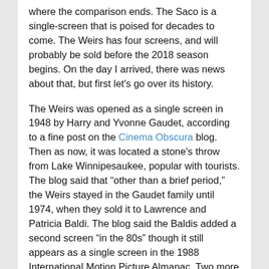where the comparison ends. The Saco is a single-screen that is poised for decades to come. The Weirs has four screens, and will probably be sold before the 2018 season begins. On the day I arrived, there was news about that, but first let's go over its history.
The Weirs was opened as a single screen in 1948 by Harry and Yvonne Gaudet, according to a fine post on the Cinema Obscura blog. Then as now, it was located a stone's throw from Lake Winnipesaukee, popular with tourists. The blog said that “other than a brief period,” the Weirs stayed in the Gaudet family until 1974, when they sold it to Lawrence and Patricia Baldi. The blog said the Baldis added a second screen “in the 80s” though it still appears as a single screen in the 1988 International Motion Picture Almanac. Two more screens came later, and that’s where we are now.
Lawrence passed away in 2011, and the big news came in 2015 when Patricia, now in her mid 70s, announced that she was putting the Weirs for sale with an asking